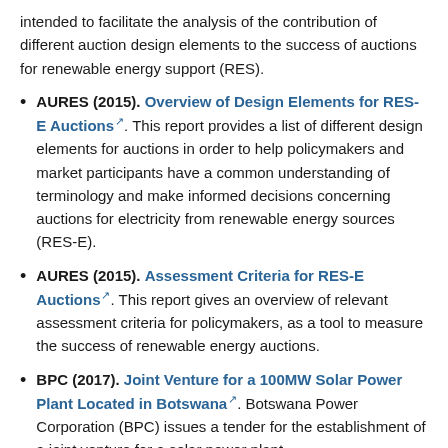intended to facilitate the analysis of the contribution of different auction design elements to the success of auctions for renewable energy support (RES).
AURES (2015). Overview of Design Elements for RES-E Auctions. This report provides a list of different design elements for auctions in order to help policymakers and market participants have a common understanding of terminology and make informed decisions concerning auctions for electricity from renewable energy sources (RES-E).
AURES (2015). Assessment Criteria for RES-E Auctions. This report gives an overview of relevant assessment criteria for policymakers, as a tool to measure the success of renewable energy auctions.
BPC (2017). Joint Venture for a 100MW Solar Power Plant Located in Botswana. Botswana Power Corporation (BPC) issues a tender for the establishment of a joint venture for a solar power plant.
CNE (2017). Regulations for Chile's 2017 Auction. Chile's National Energy Commission (CNE) provides the bidding terms (in Spanish) for the 2017 auction.